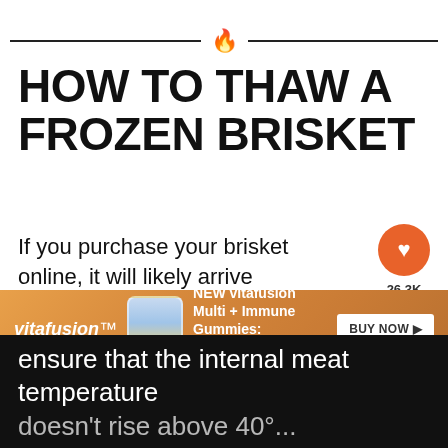[Figure (illustration): Decorative top bar with flame icon in orange and two horizontal lines on either side]
HOW TO THAW A FROZEN BRISKET
If you purchase your brisket online, it will likely arrive frozen. You also may find a great deal on briskets at Costco and decide to buy a couple and store them in the freezer.
[Figure (infographic): Social sharing sidebar with heart/like button showing 26.3K and a share button]
[Figure (infographic): What's Next widget showing a brisket image with text 'WHAT'S NEXT → Hot and Fast Brisket']
[Figure (infographic): Vitafusion advertisement banner: NEW vitafusion Multi + Immune Gummies: 2-in-1 Benefits & Flavors! with BUY NOW button]
ensure that the internal meat temperature doesn't rise above 40° (refrigerator temperature)